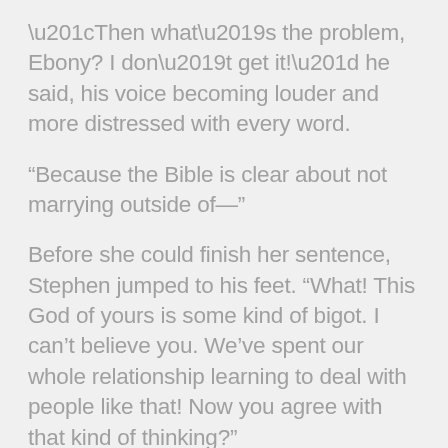“Then what’s the problem, Ebony? I don’t get it!” he said, his voice becoming louder and more distressed with every word.
“Because the Bible is clear about not marrying outside of—”
Before she could finish her sentence, Stephen jumped to his feet. “What! This God of yours is some kind of bigot. I can’t believe you. We’ve spent our whole relationship learning to deal with people like that! Now you agree with that kind of thinking?”
Ebony cringed, understanding him completely. “No, no, Honey. It’s not a race thing. However, God does…